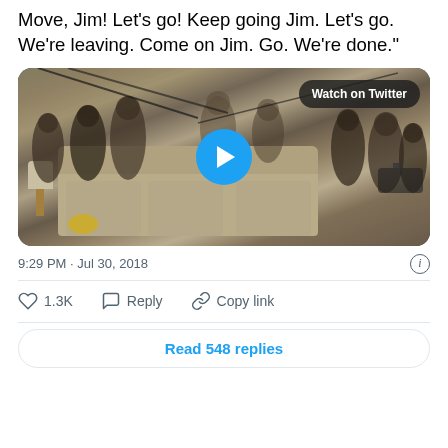Move, Jim! Let's go! Keep going Jim. Let's go. We're leaving. Come on Jim. Go. We're done."
[Figure (screenshot): Twitter embedded video thumbnail showing a crowded Oval Office scene with journalists and a sofa, with a blue play button overlay and 'Watch on Twitter' badge]
9:29 PM · Jul 30, 2018
1.3K  Reply  Copy link
Read 548 replies